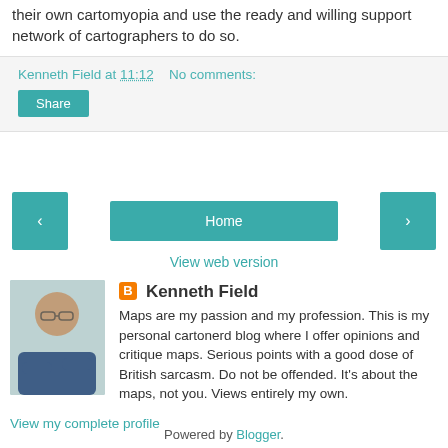their own cartomyopia and use the ready and willing support network of cartographers to do so.
Kenneth Field at 11:12   No comments:
Share
‹   Home   ›
View web version
[Figure (photo): Profile photo of Kenneth Field, a bald man with glasses wearing a dark blue shirt with arms crossed]
Kenneth Field
Maps are my passion and my profession. This is my personal cartonerd blog where I offer opinions and critique maps. Serious points with a good dose of British sarcasm. Do not be offended. It's about the maps, not you. Views entirely my own.
View my complete profile
Powered by Blogger.